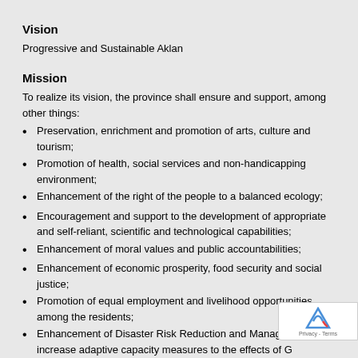Vision
Progressive and Sustainable Aklan
Mission
To realize its vision, the province shall ensure and support, among other things:
Preservation, enrichment and promotion of arts, culture and tourism;
Promotion of health, social services and non-handicapping environment;
Enhancement of the right of the people to a balanced ecology;
Encouragement and support to the development of appropriate and self-reliant, scientific and technological capabilities;
Enhancement of moral values and public accountabilities;
Enhancement of economic prosperity, food security and social justice;
Promotion of equal employment and livelihood opportunities among the residents;
Enhancement of Disaster Risk Reduction and Management and increase adaptive capacity measures to the effects of Global Warming resulting to climate change;